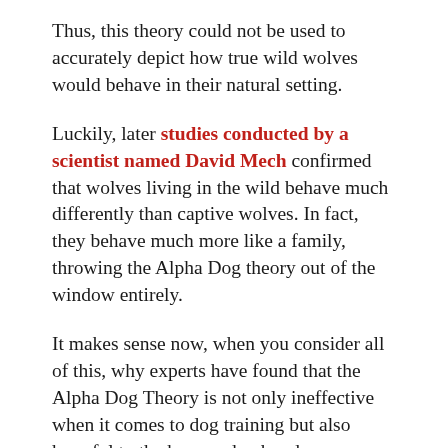Thus, this theory could not be used to accurately depict how true wild wolves would behave in their natural setting.
Luckily, later studies conducted by a scientist named David Mech confirmed that wolves living in the wild behave much differently than captive wolves. In fact, they behave much more like a family, throwing the Alpha Dog theory out of the window entirely.
It makes sense now, when you consider all of this, why experts have found that the Alpha Dog Theory is not only ineffective when it comes to dog training but also harmful to the human-dog bond.
Why Dominance And Fear-Based Training Is